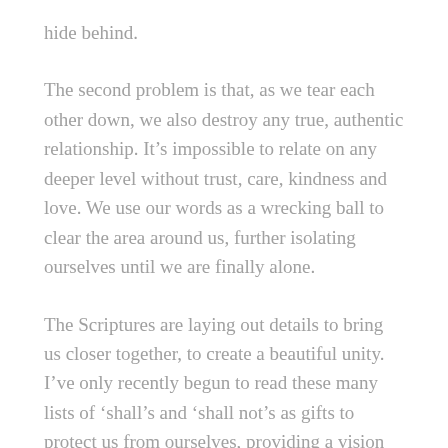hide behind.
The second problem is that, as we tear each other down, we also destroy any true, authentic relationship. It’s impossible to relate on any deeper level without trust, care, kindness and love. We use our words as a wrecking ball to clear the area around us, further isolating ourselves until we are finally alone.
The Scriptures are laying out details to bring us closer together, to create a beautiful unity. I’ve only recently begun to read these many lists of ‘shall’s and ‘shall not’s as gifts to protect us from ourselves, providing a vision that we may flourish. We simply can’t achieve this vision while our goal is, ultimately, to defend the altar we’ve erected to ourselves.